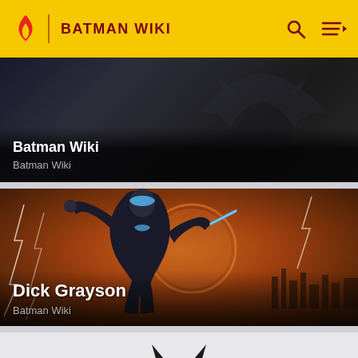BATMAN WIKI
[Figure (screenshot): Batman Wiki card with dark Batman silhouette background]
Batman Wiki
Batman Wiki
[Figure (illustration): Dick Grayson / Nightwing comic art — character in black suit with blue accents holding escrima sticks against orange fiery background with cityscape]
Dick Grayson
Batman Wiki
[Figure (illustration): Partial view of Batman logo / bat symbol at the bottom of the page]